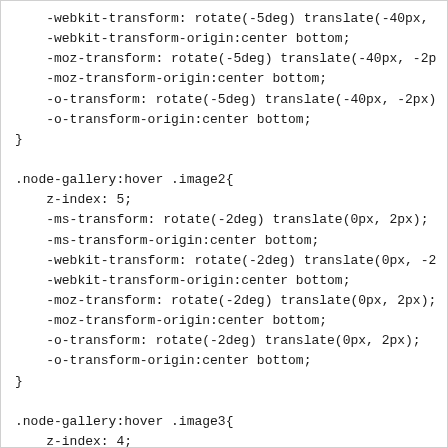-webkit-transform: rotate(-5deg) translate(-40px,
    -webkit-transform-origin:center bottom;
    -moz-transform: rotate(-5deg) translate(-40px, -2p
    -moz-transform-origin:center bottom;
    -o-transform: rotate(-5deg) translate(-40px, -2px)
    -o-transform-origin:center bottom;
}

.node-gallery:hover .image2{
    z-index: 5;
    -ms-transform: rotate(-2deg) translate(0px, 2px);
    -ms-transform-origin:center bottom;
    -webkit-transform: rotate(-2deg) translate(0px, -2
    -webkit-transform-origin:center bottom;
    -moz-transform: rotate(-2deg) translate(0px, 2px);
    -moz-transform-origin:center bottom;
    -o-transform: rotate(-2deg) translate(0px, 2px);
    -o-transform-origin:center bottom;
}

.node-gallery:hover .image3{
    z-index: 4;
    -ms-transform: rotate(5deg) translate(40px,-2px);
    -ms-transform-origin:center bottom;